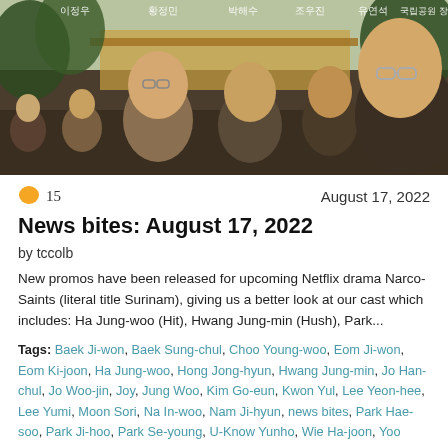[Figure (photo): Movie promotional image for Narco-Saints (Surinam) Netflix drama showing several actors in a tropical setting with Korean text names at the top]
💬 15   August 17, 2022
News bites: August 17, 2022
by tccolb
New promos have been released for upcoming Netflix drama Narco-Saints (literal title Surinam), giving us a better look at our cast which includes: Ha Jung-woo (Hit), Hwang Jung-min (Hush), Park...
Tags: Baek Ji-won, Baek Sung-chul, Choo Young-woo, Eom Ji-won, Eom Ki-joon, Ha Jung-woo, Hong Jong-hyun, Hwang Jung-min, Jo Han-chul, Jo Woo-jin, Joy, Jung Woo, Kim Go-eun, Kwon Yul, Lee Yeon-hee, Lee Yumi, Moon Sori, Na In-woo, Nam Ji-hyun, news bites, Park Hae-soo, Park Ji-hoo, Park Se-young, U-Know Yunho, Wie Ha-joon, Yoo Yeon-seok